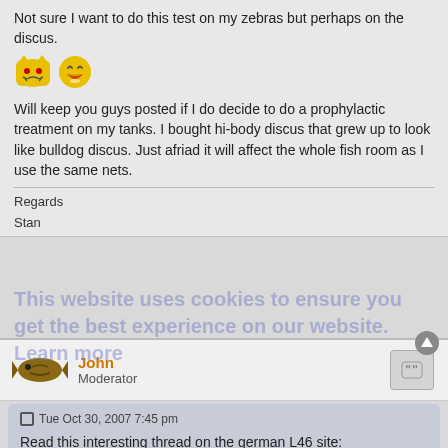Not sure I want to do this test on my zebras but perhaps on the discus.
[Figure (illustration): Two emoji icons: a yellow devil face and a laughing face]
Will keep you guys posted if I do decide to do a prophylactic treatment on my tanks. I bought hi-body discus that grew up to look like bulldog discus. Just afriad it will affect the whole fish room as I use the same nets.
Regards
Stan
John
Moderator
Tue Oct 30, 2007 7:45 pm
Read this interesting thread on the german L46 site:
http://www.forum.l46.de/viewtopic.php?t=2885
It's about F1 bulldog fry which was old enough to reproduce, 2 of those bulldog's produced 100% healthy fry.